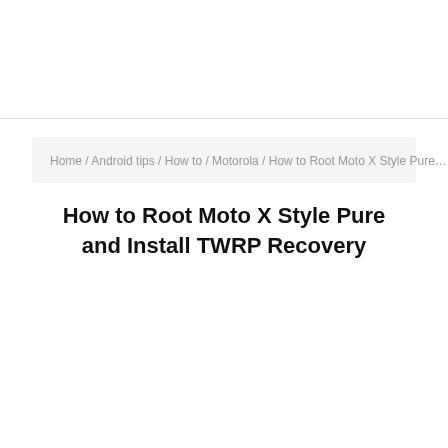Home / Android tips / How to / Motorola / How to Root Moto X Style Pure…
How to Root Moto X Style Pure and Install TWRP Recovery